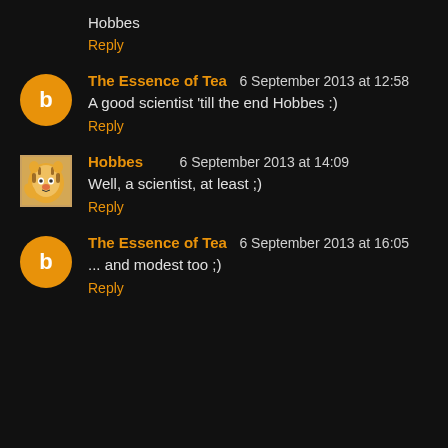Hobbes
Reply
The Essence of Tea  6 September 2013 at 12:58
A good scientist 'till the end Hobbes :)
Reply
Hobbes  6 September 2013 at 14:09
Well, a scientist, at least ;)
Reply
The Essence of Tea  6 September 2013 at 16:05
... and modest too ;)
Reply